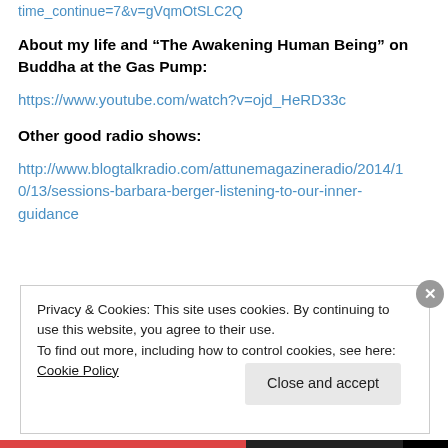time_continue=7&v=gVqmOtSLC2Q
About my life and “The Awakening Human Being” on Buddha at the Gas Pump:
https://www.youtube.com/watch?v=ojd_HeRD33c
Other good radio shows:
http://www.blogtalkradio.com/attunemagazineradio/2014/10/13/sessions-barbara-berger-listening-to-our-inner-guidance
Privacy & Cookies: This site uses cookies. By continuing to use this website, you agree to their use. To find out more, including how to control cookies, see here: Cookie Policy
Close and accept